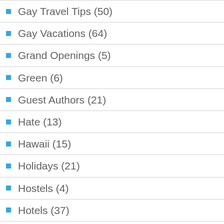Gay Travel Tips (50)
Gay Vacations (64)
Grand Openings (5)
Green (6)
Guest Authors (21)
Hate (13)
Hawaii (15)
Holidays (21)
Hostels (4)
Hotels (37)
Island Life (27)
Lesbian Travel (11)
Links and Resources (39)